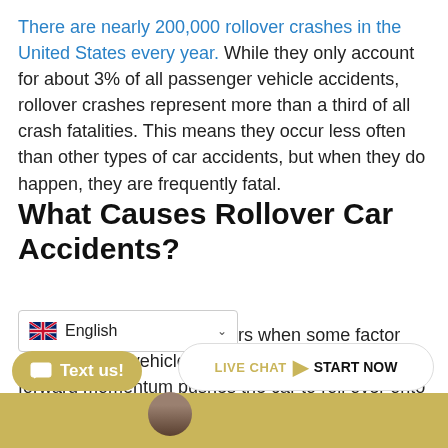There are nearly 200,000 rollover crashes in the United States every year. While they only account for about 3% of all passenger vehicle accidents, rollover crashes represent more than a third of all crash fatalities. This means they occur less often than other types of car accidents, but when they do happen, they are frequently fatal.
What Causes Rollover Car Accidents?
A rollover car accident occurs when some factor throws off the vehicle's center of gravity, while the forward momentum pushes the car to roll over onto its side or roof. A number of